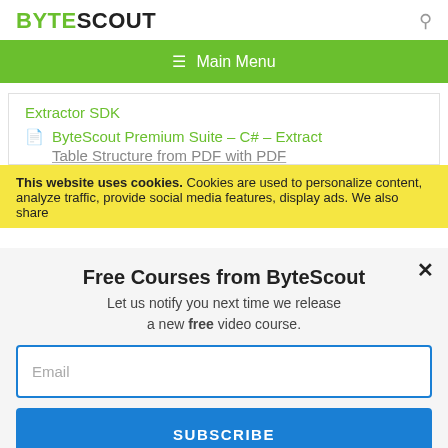BYTESCOUT
≡ Main Menu
Extractor SDK
ByteScout Premium Suite – C# – Extract Table Structure from PDF with PDF
This website uses cookies. Cookies are used to personalize content, analyze traffic, provide social media features, display ads. We also share
Free Courses from ByteScout
Let us notify you next time we release a new free video course.
Email
SUBSCRIBE